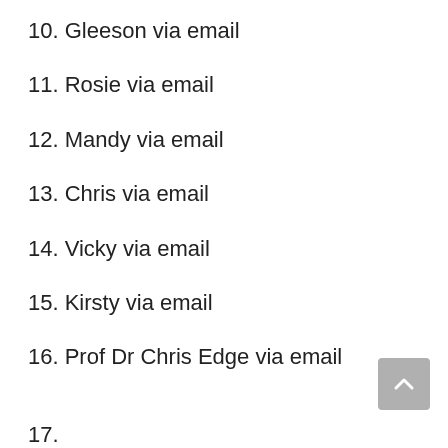10. Gleeson via email
11. Rosie via email
12. Mandy via email
13. Chris via email
14. Vicky via email
15. Kirsty via email
16. Prof Dr Chris Edge via email
17.